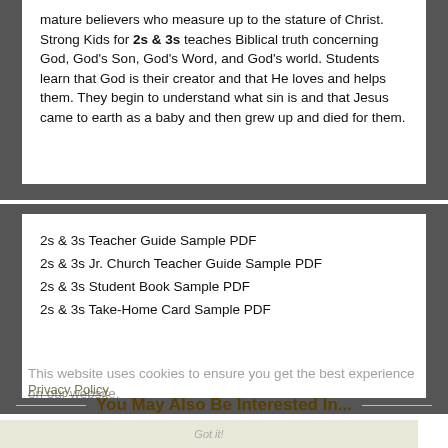mature believers who measure up to the stature of Christ. Strong Kids for 2s & 3s teaches Biblical truth concerning God, God's Son, God's Word, and God's world. Students learn that God is their creator and that He loves and helps them. They begin to understand what sin is and that Jesus came to earth as a baby and then grew up and died for them.
2s & 3s Teacher Guide Sample PDF
2s & 3s Jr. Church Teacher Guide Sample PDF
2s & 3s Student Book Sample PDF
2s & 3s Take-Home Card Sample PDF
This website uses cookies to ensure you get the best experience on our website.
Privacy Policy
You May Also Be Interested In...